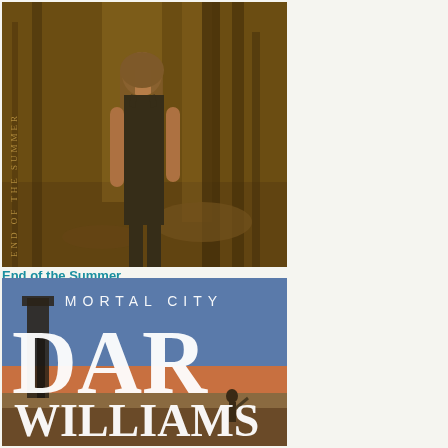[Figure (photo): Sepia-toned album cover showing a woman in a black dress walking through a wooded area. Text on the left side reads 'END OF THE SUMMER' vertically.]
End of the Summer
[Figure (photo): Album cover for Dar Williams 'Mortal City'. Shows 'MORTAL CITY' text at top, large 'DAR' letters over a blue and orange landscape, with 'WILLIAMS' at the bottom.]